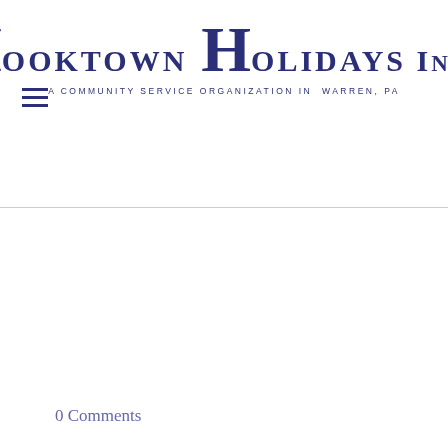Hooktown Holidays Inc. — A Community Service Organization in Warren, PA
0 Comments